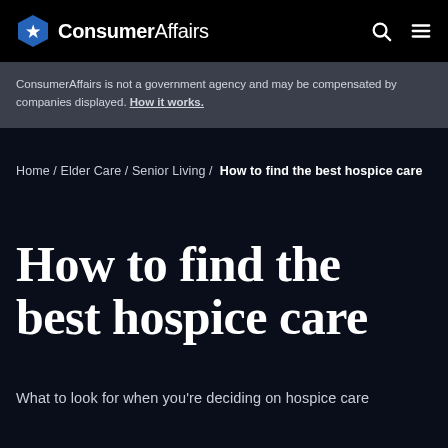ConsumerAffairs
ConsumerAffairs is not a government agency and may be compensated by companies displayed. How it works.
Home / Elder Care / Senior Living / How to find the best hospice care
How to find the best hospice care
What to look for when you're deciding on hospice care